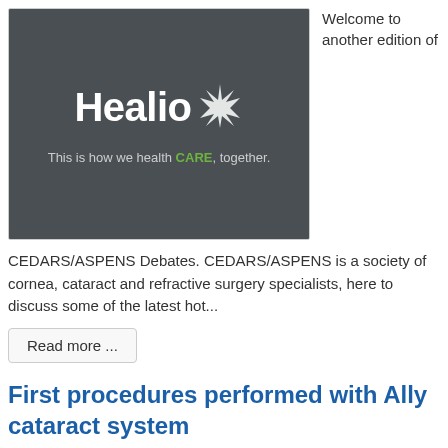[Figure (logo): Healio logo on dark gray background with tagline 'This is how we health CARE, together.']
Welcome to another edition of
CEDARS/ASPENS Debates. CEDARS/ASPENS is a society of cornea, cataract and refractive surgery specialists, here to discuss some of the latest hot...
Read more ...
First procedures performed with Ally cataract system